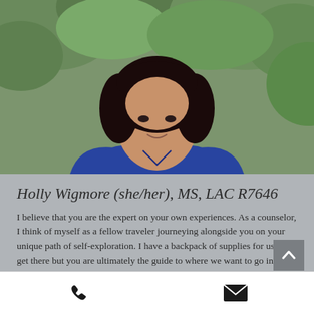[Figure (photo): Headshot photo of Holly Wigmore, a woman with dark wavy hair wearing a blue patterned top, photographed in front of green foliage]
Holly Wigmore (she/her), MS, LAC R7646
I believe that you are the expert on your own experiences. As a counselor, I think of myself as a fellow traveler journeying alongside you on your unique path of self-exploration. I have a backpack of supplies for us to get there but you are ultimately the guide to where we want to go in our work together. I come to the
Phone and email contact icons